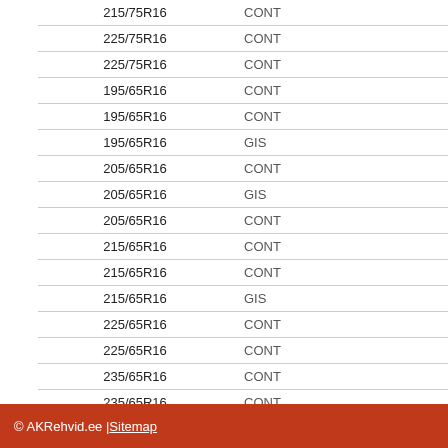| Size | Brand |
| --- | --- |
| 215/75R16 | CONT |
| 225/75R16 | CONT |
| 225/75R16 | CONT |
| 195/65R16 | CONT |
| 195/65R16 | CONT |
| 195/65R16 | GIS |
| 205/65R16 | CONT |
| 205/65R16 | GIS |
| 205/65R16 | CONT |
| 215/65R16 | CONT |
| 215/65R16 | CONT |
| 215/65R16 | GIS |
| 225/65R16 | CONT |
| 225/65R16 | CONT |
| 235/65R16 | CONT |
| 235/65R16 | CONT |
| 195/60R16 | CONT |
| 195/60R16 | GIS |
| 205/60R16 | GIS |
| 215/60R16 | CONT |
| 215/60R17 | CONT |
© AKRehvid.ee | Sitemap